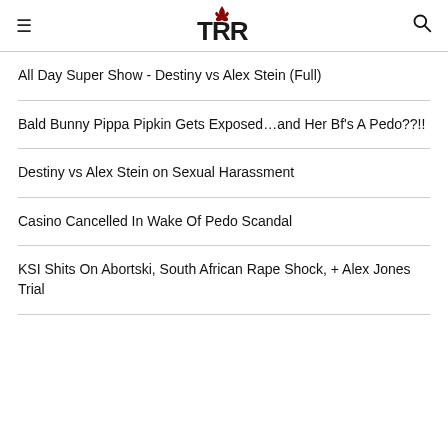TRR (logo)
All Day Super Show - Destiny vs Alex Stein (Full)
Bald Bunny Pippa Pipkin Gets Exposed…and Her Bf's A Pedo??!!
Destiny vs Alex Stein on Sexual Harassment
Casino Cancelled In Wake Of Pedo Scandal
KSI Shits On Abortski, South African Rape Shock, + Alex Jones Trial